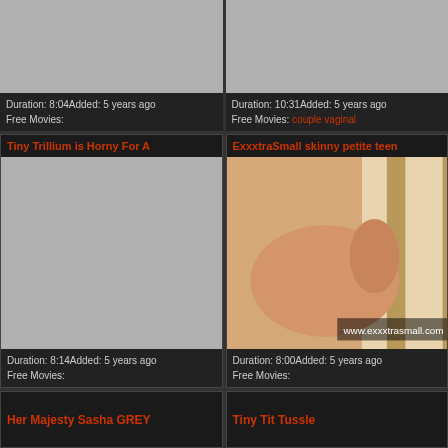[Figure (screenshot): Video thumbnail placeholder gray]
Duration: 8:04Added: 5 years ago
Free Movies:
[Figure (screenshot): Video thumbnail placeholder gray]
Duration: 10:31Added: 5 years ago
Free Movies: couple vaginal
Tiny Trillium is Horny For A
ExxxtraSmall skinny petite teen
[Figure (screenshot): Video thumbnail placeholder gray]
Duration: 8:14Added: 5 years ago
Free Movies:
[Figure (photo): Video thumbnail showing adult content]
Duration: 8:00Added: 5 years ago
Free Movies:
Her Majesty Sasha GREY
Tiny Tit Tussle